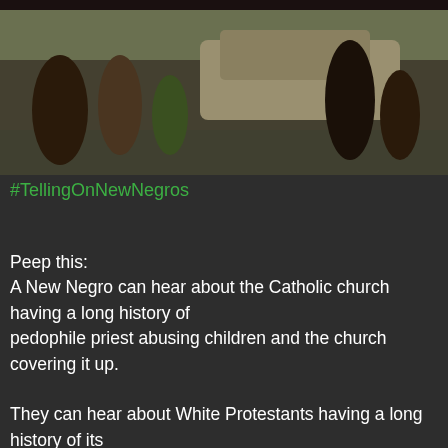[Figure (photo): Outdoor scene showing people on a street with a car in the background]
#TellingOnNewNegros
Peep this:
A New Negro can hear about the Catholic church having a long history of
pedophile priest abusing children and the church covering it up.

They can hear about White Protestants having a long history of its
ministers soliciting gay prostitutes, overlooking child molestation, and
spousal abuse and covering it all up.